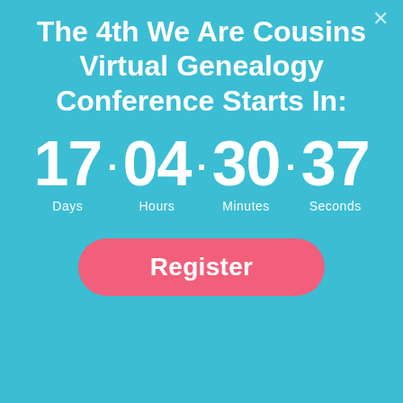The 4th We Are Cousins Virtual Genealogy Conference Starts In:
17 · 04 · 30 · 37 Days Hours Minutes Seconds
Register
Search
The 4th We Are Cousins Virtual Genealogy Conference